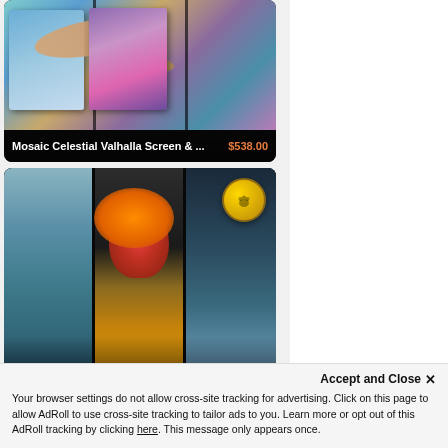[Figure (photo): Product listing card: Mosaic Celestial Valhalla Screen with colorful underwater/celestial art panels showing whales and fish, partially visible at top]
Mosaic Celestial Valhalla Screen & ...   $538.00
[Figure (photo): Product listing card: Mosaic Final Boss Valhalla Screen with fantasy battle/lava scene art panels, gold paw print badge in top right corner]
Mosaic Final Boss Valhalla Screen   $465.00
[Figure (photo): Product listing card: partially visible at bottom, colorful red and green mosaic art panels]
Accept and Close ×
Your browser settings do not allow cross-site tracking for advertising. Click on this page to allow AdRoll to use cross-site tracking to tailor ads to you. Learn more or opt out of this AdRoll tracking by clicking here. This message only appears once.